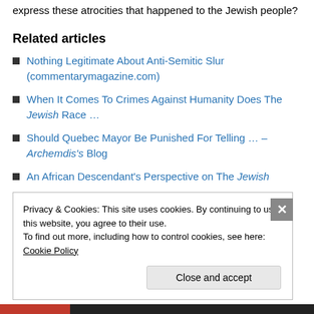express these atrocities that happened to the Jewish people?
Related articles
Nothing Legitimate About Anti-Semitic Slur (commentarymagazine.com)
When It Comes To Crimes Against Humanity Does The Jewish Race …
Should Quebec Mayor Be Punished For Telling … – Archemdis's Blog
An African Descendant's Perspective on The Jewish
Privacy & Cookies: This site uses cookies. By continuing to use this website, you agree to their use. To find out more, including how to control cookies, see here: Cookie Policy
Close and accept